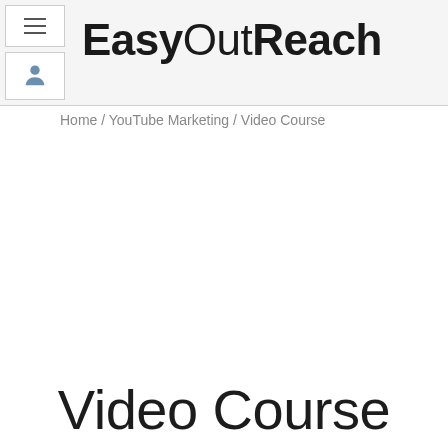EasyOutReach
Home / YouTube Marketing / Video Course
Video Course